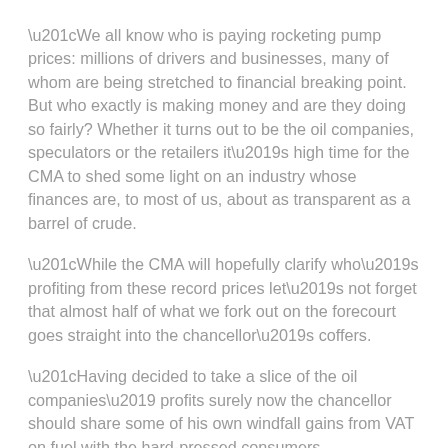“We all know who is paying rocketing pump prices: millions of drivers and businesses, many of whom are being stretched to financial breaking point. But who exactly is making money and are they doing so fairly? Whether it turns out to be the oil companies, speculators or the retailers it’s high time for the CMA to shed some light on an industry whose finances are, to most of us, about as transparent as a barrel of crude.
“While the CMA will hopefully clarify who’s profiting from these record prices let’s not forget that almost half of what we fork out on the forecourt goes straight into the chancellor’s coffers.
“Having decided to take a slice of the oil companies’ profits surely now the chancellor should share some of his own windfall gains from VAT on fuel with the hard-pressed consumers who’ve been paying it.”